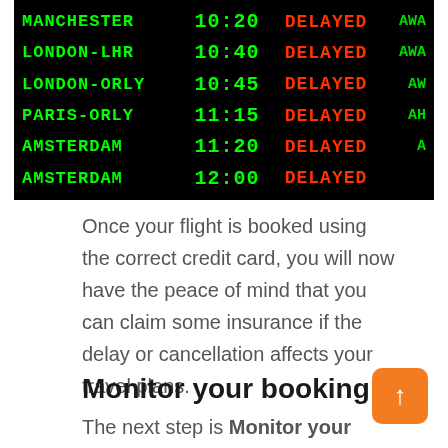[Figure (photo): Airport departure board showing multiple delayed flights. Green text shows destinations (MANCHESTER, LONDON-LHR, LONDON-ORLY, PARIS-ORLY, AMSTERDAM) and times (10:20, 10:40, 10:45, 11:15, 11:20, 12:00), red text shows DELAYED status for all flights, partial gate information visible on the right.]
Once your flight is booked using the correct credit card, you will now have the peace of mind that you can claim some insurance if the delay or cancellation affects your travel plans.
Monitor your booking
The next step is Monitor your itinerary in days and